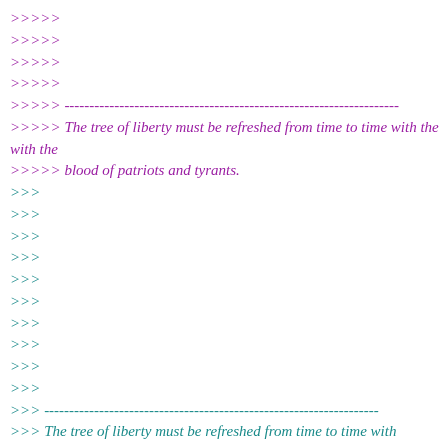>>>>>
>>>>>
>>>>>
>>>>>
>>>>> -------------------------------------------------------------------
>>>>> The tree of liberty must be refreshed from time to time with the
>>>>> blood of patriots and tyrants.
>>>
>>>
>>>
>>>
>>>
>>>
>>>
>>>
>>>
>>>
>>> -------------------------------------------------------------------
>>> The tree of liberty must be refreshed from time to time with the
>>> blood of patriots and tyrants.
>
>
>
>